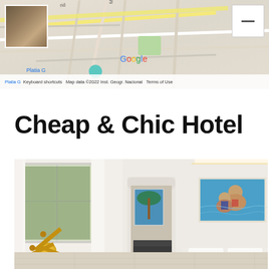[Figure (map): Google Maps screenshot showing street map with a hotel thumbnail, minus button, Google logo, and map attribution bar reading 'Platia G  Keyboard shortcuts  Map data ©2022 Inst. Geogr. Nacional  Terms of Use']
Cheap & Chic Hotel
[Figure (photo): Interior photo of a bright white hotel room with a yellow articulated floor lamp, white curtains, a framed painting of two people swimming, a doorway leading to another room with art, and a bed with white pillows.]